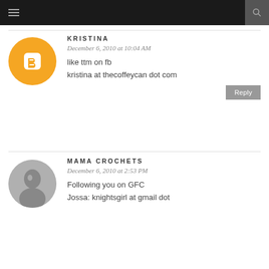Navigation header with hamburger menu and search icon
KRISTINA
December 6, 2010 at 10:04 AM
like ttm on fb

kristina at thecoffeycan dot com
MAMA CROCHETS
December 6, 2010 at 2:53 PM
Following you on GFC

Jossa: knightsgirl at gmail dot